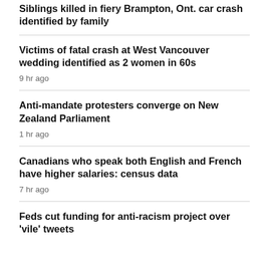Siblings killed in fiery Brampton, Ont. car crash identified by family
Victims of fatal crash at West Vancouver wedding identified as 2 women in 60s
9 hr ago
Anti-mandate protesters converge on New Zealand Parliament
1 hr ago
Canadians who speak both English and French have higher salaries: census data
7 hr ago
Feds cut funding for anti-racism project over 'vile' tweets